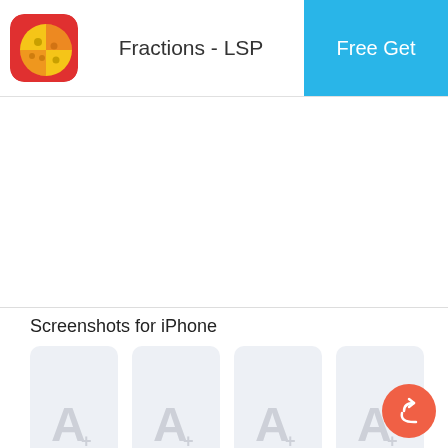Fractions - LSP
[Figure (screenshot): App store page for Fractions - LSP with app icon, title, Free Get button, and four placeholder iPhone screenshots]
Screenshots for iPhone